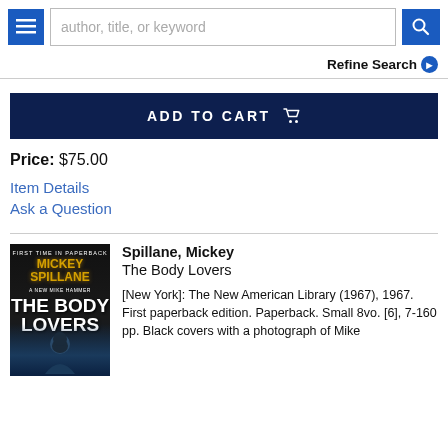author, title, or keyword | Refine Search
ADD TO CART
Price: $75.00
Item Details
Ask a Question
Spillane, Mickey
The Body Lovers
[New York]: The New American Library (1967), 1967. First paperback edition. Paperback. Small 8vo. [6], 7-160 pp. Black covers with a photograph of Mike